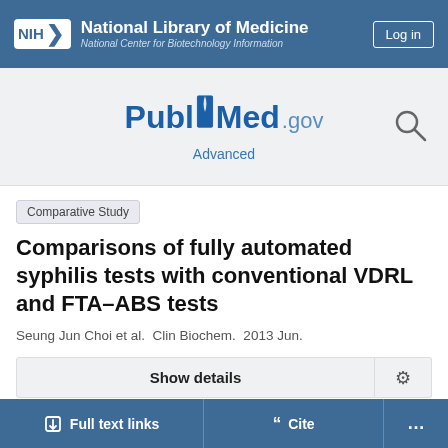[Figure (logo): NIH National Library of Medicine / National Center for Biotechnology Information header with Log in button]
[Figure (logo): PubMed.gov logo with search icon and Advanced link]
Comparative Study
Comparisons of fully automated syphilis tests with conventional VDRL and FTA-ABS tests
Seung Jun Choi et al. Clin Biochem. 2013 Jun.
Show details
Full text links
Cite
...